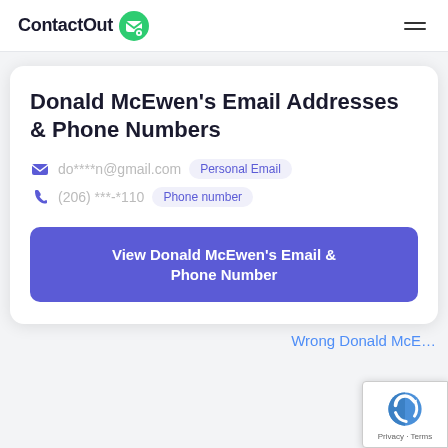ContactOut
Donald McEwen's Email Addresses & Phone Numbers
do****n@gmail.com  Personal Email
(206) ***-*110  Phone number
View Donald McEwen's Email & Phone Number
Wrong Donald McE…